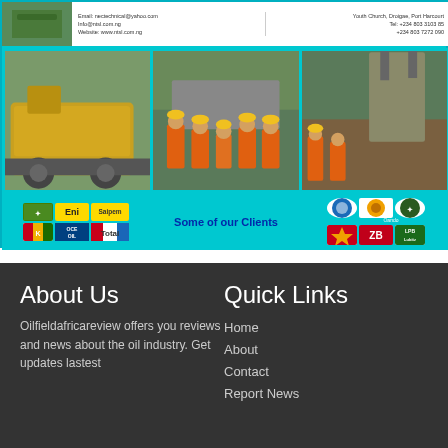[Figure (photo): Top banner with company photos showing construction equipment, oil/gas workers in orange coveralls, and excavation work. Client logos including Eni, Saipem, Shell, Oando, ZB, Total are shown. Contact info: Email: nectechnical@yahoo.com, info@ntsl.com.ng, Website: www.ntsl.com.ng, Youth Church, Droigae, Port Harcourt, Tel: +234 803 3103 85, +234 803 7272 090. Text: Some of our Clients]
About Us
Oilfieldafricareview offers you reviews and news about the oil industry. Get updates lastest
Quick Links
Home
About
Contact
Report News